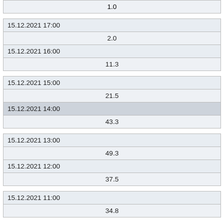| 1.0 |
| 15.12.2021 17:00 |
| 2.0 |
| 15.12.2021 16:00 |
| 11.3 |
| 15.12.2021 15:00 |
| 21.5 |
| 15.12.2021 14:00 |
| 43.3 |
| 15.12.2021 13:00 |
| 49.3 |
| 15.12.2021 12:00 |
| 37.5 |
| 15.12.2021 11:00 |
| 34.8 |